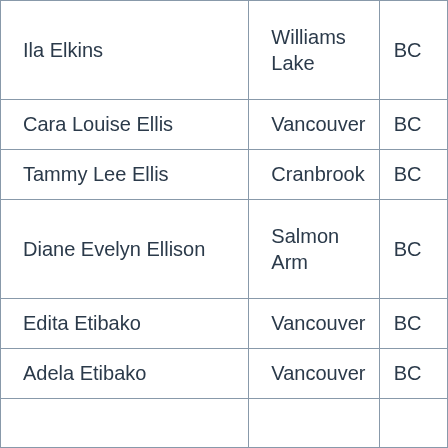| Ila Elkins | Williams Lake | BC |
| Cara Louise Ellis | Vancouver | BC |
| Tammy Lee Ellis | Cranbrook | BC |
| Diane Evelyn Ellison | Salmon Arm | BC |
| Edita Etibako | Vancouver | BC |
| Adela Etibako | Vancouver | BC |
|  |  |  |